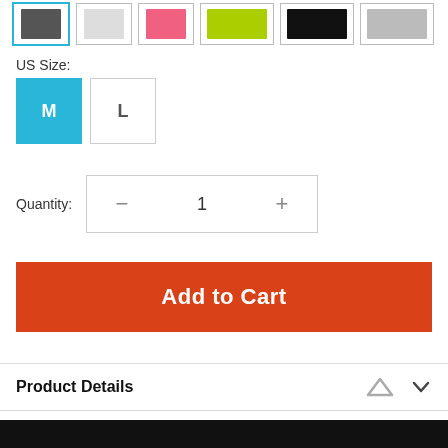[Figure (other): Row of product thumbnail images showing different color variants (white/selected, white, pink, lime, black, silver). First thumbnail has a teal/cyan selection border.]
US Size:
M  L
Quantity:  1
Add to Cart
Product Details
[Figure (photo): Partial black product image visible at bottom of page]